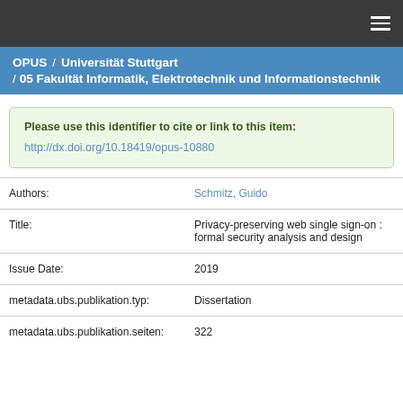OPUS / Universität Stuttgart / 05 Fakultät Informatik, Elektrotechnik und Informationstechnik
Please use this identifier to cite or link to this item:
http://dx.doi.org/10.18419/opus-10880
| Field | Value |
| --- | --- |
| Authors: | Schmitz, Guido |
| Title: | Privacy-preserving web single sign-on : formal security analysis and design |
| Issue Date: | 2019 |
| metadata.ubs.publikation.typ: | Dissertation |
| metadata.ubs.publikation.seiten: | 322 |